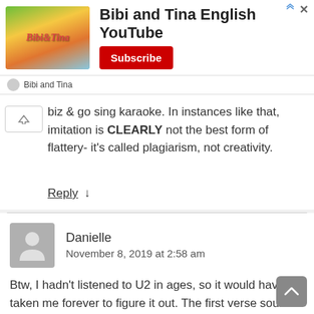[Figure (screenshot): Advertisement banner for Bibi and Tina English YouTube channel with Subscribe button]
biz & go sing karaoke. In instances like that, imitation is CLEARLY not the best form of flattery- it's called plagiarism, not creativity.
Reply ↓
Danielle
November 8, 2019 at 2:58 am
Btw, I hadn't listened to U2 in ages, so it would have taken me forever to figure it out. The first verse sounds like another song I can't place, also. This thread is so old, so who knows if I'll hear anything back. However, thank you for helping me to place the real artists.